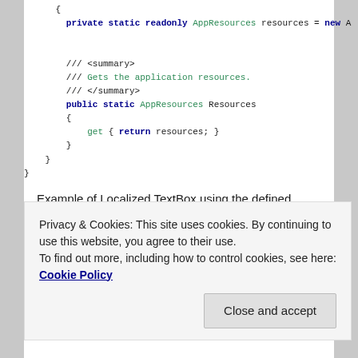private static readonly AppResources resources = new A

    /// <summary>
    /// Gets the application resources.
    /// </summary>
    public static AppResources Resources
    {
        get { return resources; }
    }
}
}
Example of Localized TextBox using the defined LocalizationProvider:
Privacy & Cookies: This site uses cookies. By continuing to use this website, you agree to their use.
To find out more, including how to control cookies, see here: Cookie Policy